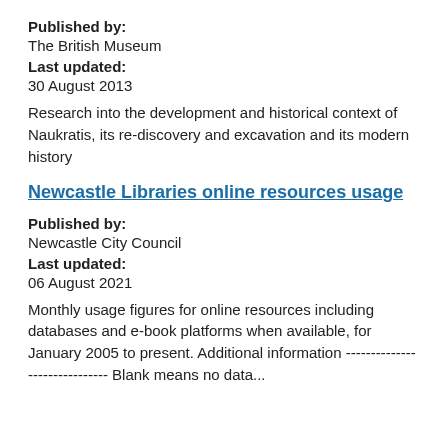Published by:
The British Museum
Last updated:
30 August 2013
Research into the development and historical context of Naukratis, its re-discovery and excavation and its modern history
Newcastle Libraries online resources usage
Published by:
Newcastle City Council
Last updated:
06 August 2021
Monthly usage figures for online resources including databases and e-book platforms when available, for January 2005 to present. Additional information ----------------------- Blank means no data...